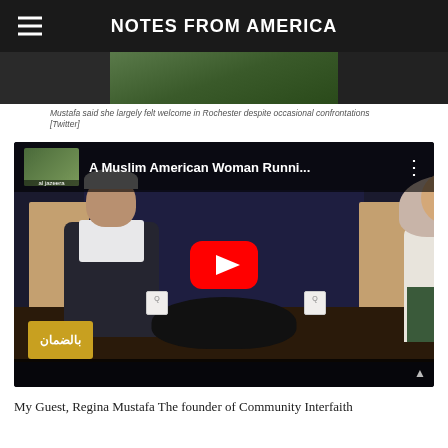NOTES FROM AMERICA
[Figure (photo): Partially visible photo of outdoor scene at the top of the page]
Mustafa said she largely felt welcome in Rochester despite occasional confrontations [Twitter]
[Figure (screenshot): YouTube video embed titled 'A Muslim American Woman Runni...' showing two people seated at a round table in a TV interview setting. A man in dark suit on the left and a woman wearing a hijab on the right. A red YouTube play button overlay is visible in the center. An Arabic language logo appears in the bottom left corner.]
My Guest, Regina Mustafa The founder of Community Interfaith